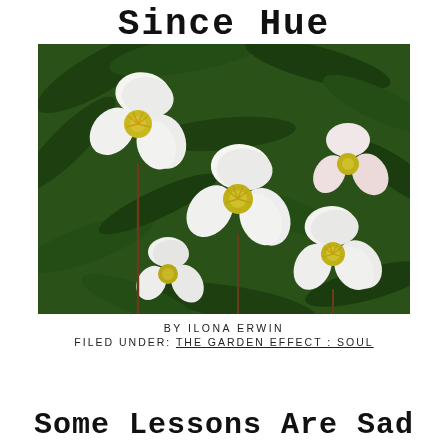Since Hue
[Figure (photo): Close-up photograph of white flowers with yellow stamens and dark green leaves, appearing to be hellebores or similar blooms against dense foliage.]
BY ILONA ERWIN
FILED UNDER: THE GARDEN EFFECT : SOUL
Some Lessons Are Sad